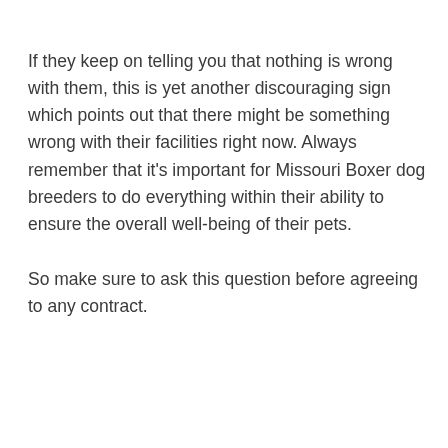If they keep on telling you that nothing is wrong with them, this is yet another discouraging sign which points out that there might be something wrong with their facilities right now. Always remember that it's important for Missouri Boxer dog breeders to do everything within their ability to ensure the overall well-being of their pets.
So make sure to ask this question before agreeing to any contract.